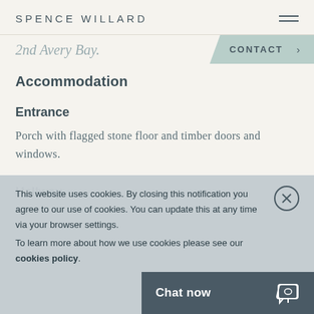SPENCE WILLARD
2nd Avery Bay.
CONTACT >
Accommodation
Entrance
Porch with flagged stone floor and timber doors and windows.
Hallway
This website uses cookies. By closing this notification you agree to our use of cookies. You can update this at any time via your browser settings.
To learn more about how we use cookies please see our cookies policy.
Chat now